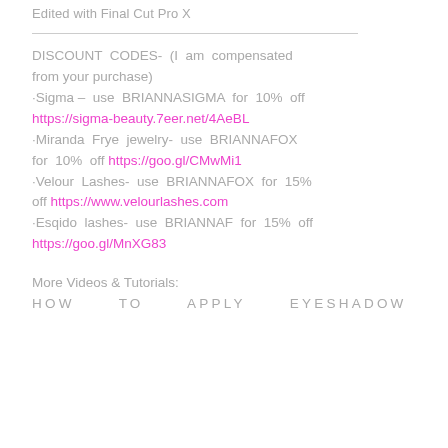Edited with Final Cut Pro X
DISCOUNT CODES- (I am compensated from your purchase)
·Sigma – use BRIANNASIGMA for 10% off https://sigma-beauty.7eer.net/4AeBL
·Miranda Frye jewelry- use BRIANNAFOX for 10% off https://goo.gl/CMwMi1
·Velour Lashes- use BRIANNAFOX for 15% off https://www.velourlashes.com
·Esqido lashes- use BRIANNAF for 15% off https://goo.gl/MnXG83
More Videos & Tutorials:
HOW TO APPLY EYESHADOW